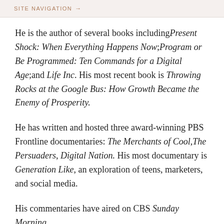SITE NAVIGATION →
He is the author of several books including Present Shock: When Everything Happens Now; Program or Be Programmed: Ten Commands for a Digital Age; and Life Inc. His most recent book is Throwing Rocks at the Google Bus: How Growth Became the Enemy of Prosperity.
He has written and hosted three award-winning PBS Frontline documentaries: The Merchants of Cool, The Persuaders, Digital Nation. His most documentary is Generation Like, an exploration of teens, marketers, and social media.
His commentaries have aired on CBS Sunday Morning